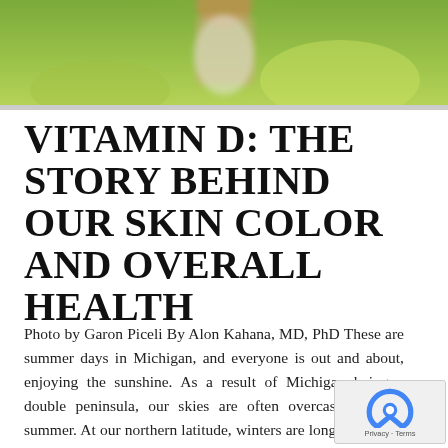[Figure (photo): Outdoor photo of a person in a field with green vegetation and warm sunlight from above]
VITAMIN D: THE STORY BEHIND OUR SKIN COLOR AND OVERALL HEALTH
Photo by Garon Piceli By Alon Kahana, MD, PhD These are summer days in Michigan, and everyone is out and about, enjoying the sunshine. As a result of Michigan being a double peninsula, our skies are often overcast, even in summer. At our northern latitude, winters are long and sunny days are few. The consequence is that much of the year, we get little to no sun exposure. Unfortunately, this is associated with